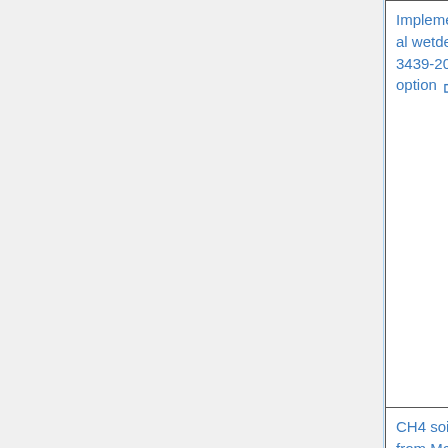| Task/Feature | Lead/Contributors | Category |
| --- | --- | --- |
| Implement Gan Luo et al wetdep (GMD-12-3439-2019) as an option | Gan Luo (SUNY-Albany)
Fangqun Yu (SUNY-Albany)
Bob Yantosca (GCST) | Science (option) |
| CH4 soil absorption from MeMo model | Melissa Sulprizio (Harvard) | Science |
| ... | GCST | ... |